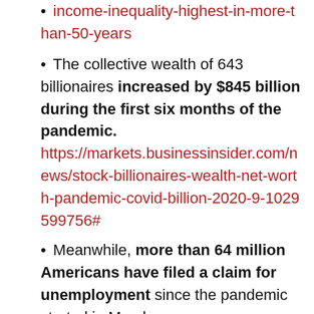income-inequality-highest-in-more-than-50-years (link)
The collective wealth of 643 billionaires increased by $845 billion during the first six months of the pandemic. https://markets.businessinsider.com/news/stock-billionaires-wealth-net-worth-pandemic-covid-billion-2020-9-1029599756#
Meanwhile, more than 64 million Americans have filed a claim for unemployment since the pandemic started in March. https://www.pgpf.org/blog/2020/10/the-